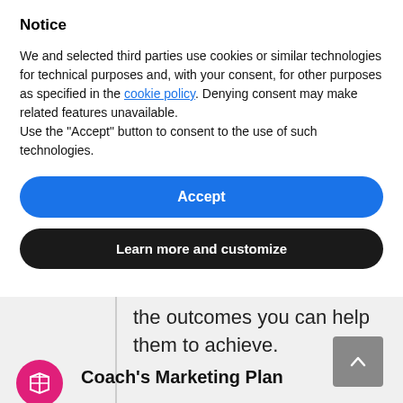Notice
We and selected third parties use cookies or similar technologies for technical purposes and, with your consent, for other purposes as specified in the cookie policy. Denying consent may make related features unavailable.
Use the “Accept” button to consent to the use of such technologies.
Accept
Learn more and customize
the outcomes you can help them to achieve.
[Figure (illustration): Scroll-to-top button, grey square with upward chevron arrow]
[Figure (illustration): Pink circle icon with white map/book icon inside]
Coach’s Marketing Plan